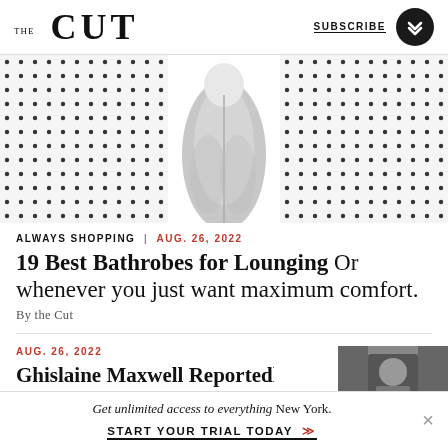THE CUT | SUBSCRIBE
[Figure (photo): Gray bathrobe on a white/black polka dot background, center-cropped, partial view showing bottom of robe]
ALWAYS SHOPPING | AUG. 26, 2022
19 Best Bathrobes for Lounging Or whenever you just want maximum comfort.
By the Cut
AUG. 26, 2022
Ghislaine Maxwell Reportedly...
[Figure (photo): Black and white thumbnail photo of a person, likely Ghislaine Maxwell]
Get unlimited access to everything New York. START YOUR TRIAL TODAY →→